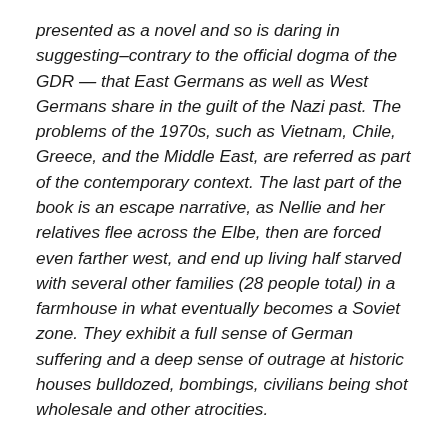presented as a novel and so is daring in suggesting–contrary to the official dogma of the GDR — that East Germans as well as West Germans share in the guilt of the Nazi past. The problems of the 1970s, such as Vietnam, Chile, Greece, and the Middle East, are referred as part of the contemporary context. The last part of the book is an escape narrative, as Nellie and her relatives flee across the Elbe, then are forced even farther west, and end up living half starved with several other families (28 people total) in a farmhouse in what eventually becomes a Soviet zone. They exhibit a full sense of German suffering and a deep sense of outrage at historic houses bulldozed, bombings, civilians being shot wholesale and other atrocities.
I was taken by the narrative immediately. Strong